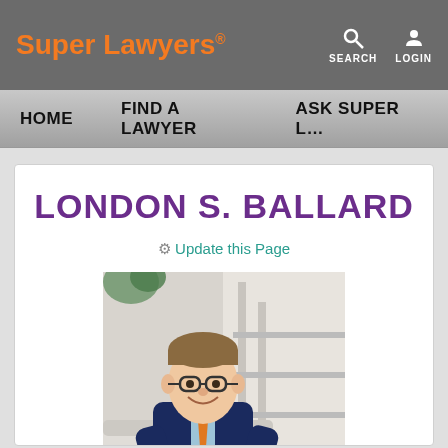Super Lawyers®
SEARCH  LOGIN
HOME   FIND A LAWYER   ASK SUPER L…
LONDON S. BALLARD
⚙ Update this Page
[Figure (photo): Professional headshot of London S. Ballard, a man wearing glasses, a navy blue suit, and an orange tie, smiling, seated in a modern interior setting]